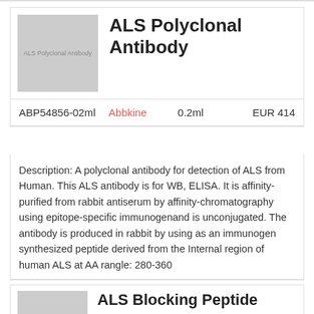[Figure (photo): Placeholder image for ALS Polyclonal Antibody product, grey square with small text label]
ALS Polyclonal Antibody
| Catalog | Brand | Volume | Price |
| --- | --- | --- | --- |
| ABP54856-02ml | Abbkine | 0.2ml | EUR 414 |
Description: A polyclonal antibody for detection of ALS from Human. This ALS antibody is for WB, ELISA. It is affinity-purified from rabbit antiserum by affinity-chromatography using epitope-specific immunogenand is unconjugated. The antibody is produced in rabbit by using as an immunogen synthesized peptide derived from the Internal region of human ALS at AA rangle: 280-360
[Figure (photo): Placeholder image for ALS Blocking Peptide product, grey rectangle]
ALS Blocking Peptide